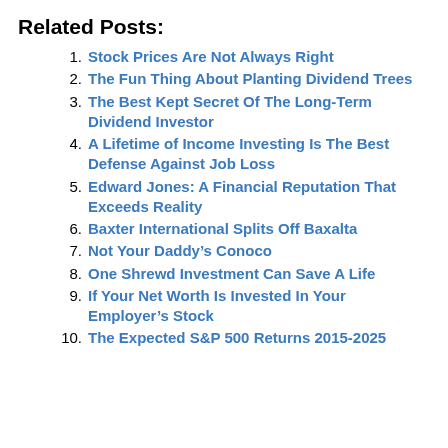Related Posts:
1. Stock Prices Are Not Always Right
2. The Fun Thing About Planting Dividend Trees
3. The Best Kept Secret Of The Long-Term Dividend Investor
4. A Lifetime of Income Investing Is The Best Defense Against Job Loss
5. Edward Jones: A Financial Reputation That Exceeds Reality
6. Baxter International Splits Off Baxalta
7. Not Your Daddy’s Conoco
8. One Shrewd Investment Can Save A Life
9. If Your Net Worth Is Invested In Your Employer’s Stock
10. The Expected S&P 500 Returns 2015-2025